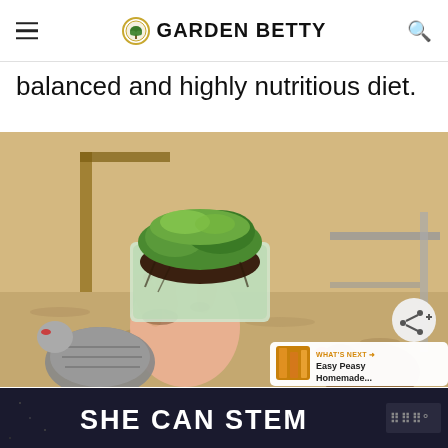GARDEN BETTY
balanced and highly nutritious diet.
[Figure (photo): A hand holding a plastic container filled with fresh green sprouts and microgreens with soil, held above chickens in a backyard coop setting. A share button and a 'What's Next' overlay showing 'Easy Peasy Homemade...' are visible.]
[Figure (screenshot): Ad banner with dark background reading 'SHE CAN STEM' in bold white text, with a logo on the right side.]